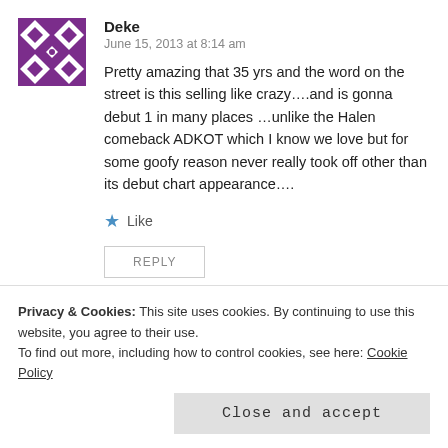[Figure (illustration): Purple and white geometric/diamond pattern avatar icon for user Deke]
Deke
June 15, 2013 at 8:14 am
Pretty amazing that 35 yrs and the word on the street is this selling like crazy….and is gonna debut 1 in many places …unlike the Halen comeback ADKOT which I know we love but for some goofy reason never really took off other than its debut chart appearance….
Like
REPLY
[Figure (photo): Small thumbnail avatar photo for user mikeladane]
mikeladane
Privacy & Cookies: This site uses cookies. By continuing to use this website, you agree to their use.
To find out more, including how to control cookies, see here: Cookie Policy
Close and accept